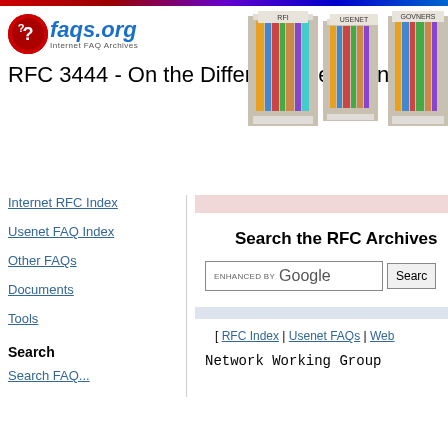[Figure (logo): faqs.org logo with red circle and blue italic text]
[Figure (photo): Bookshelf image with RFI, USENET, GOVNERS labels]
RFC 3444 - On the Difference between Im
Internet RFC Index
Usenet FAQ Index
Other FAQs
Documents
Tools
Search
Search the RFC Archives
[ RFC Index | Usenet FAQs | Web
Network Working Group